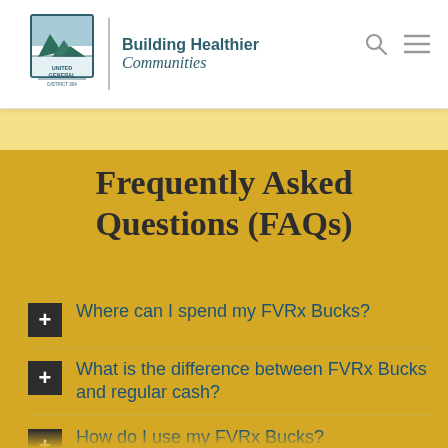[Figure (logo): United General District 304 logo with mountain/landscape emblem and text 'Building Healthier Communities']
Frequently Asked Questions (FAQs)
Where can I spend my FVRx Bucks?
What is the difference between FVRx Bucks and regular cash?
How do I use my FVRx Bucks?